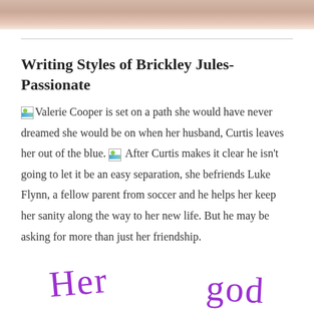[Figure (photo): Bottom portion of a photograph showing a person, cropped at top of page]
Writing Styles of Brickley Jules-Passionate
Valerie Cooper is set on a path she would have never dreamed she would be on when her husband, Curtis leaves her out of the blue. After Curtis makes it clear he isn't going to let it be an easy separation, she befriends Luke Flynn, a fellow parent from soccer and he helps her keep her sanity along the way to her new life. But he may be asking for more than just her friendship.
[Figure (illustration): Handwritten cursive text in purple ink showing 'Her' and 'god' (partial book title)]